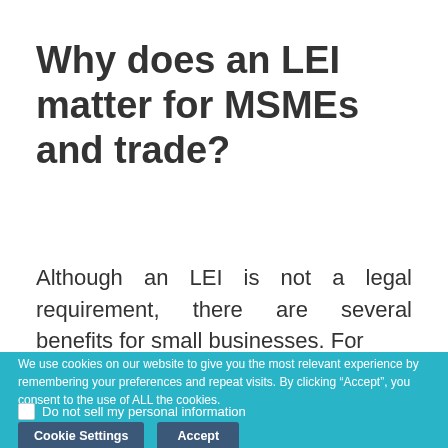Why does an LEI matter for MSMEs and trade?
Although an LEI is not a legal requirement, there are several benefits for small businesses. For
We use cookies on our website to give you the most relevant experience by remembering your preferences and repeat visits. By clicking “Accept”, you consent to the use of ALL the cookies.
Do not sell my personal information
Cookie Settings
Accept